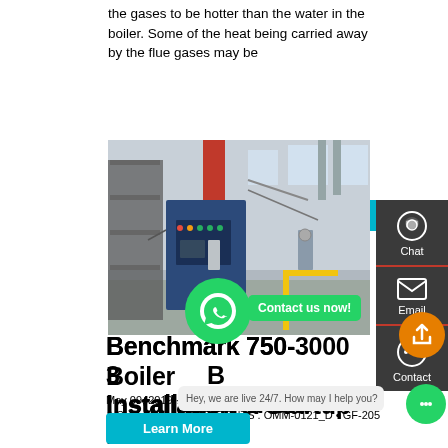the gases to be hotter than the water in the boiler. Some of the heat being carried away by the flue gases may be
[Figure (photo): Industrial boiler equipment in a factory setting, showing a blue control panel, red vertical pipe/column, wiring, and industrial shelving in background.]
Benchmark 750-3000 Boiler Installation & Startup Manual
May 09, 2019 · Benchmark 750-3000 Boiler Installation & Startup Manual CONTENTS . OMM-0121_D • GF-205 • 5/9/2019 Techni...